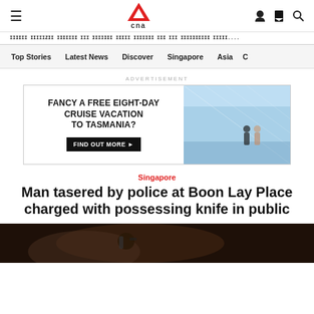≡  CNA  (user icon) (bookmark icon) (search icon)
BREAKING NEWS TICKER (scrolling text)
Top Stories   Latest News   Discover   Singapore   Asia   C
ADVERTISEMENT
[Figure (other): Advertisement banner: FANCY A FREE EIGHT-DAY CRUISE VACATION TO TASMANIA? FIND OUT MORE ► with cruise ship interior photo on right]
Singapore
Man tasered by police at Boon Lay Place charged with possessing knife in public
[Figure (photo): Bottom partial photo showing a person, dark tones, partial crop]